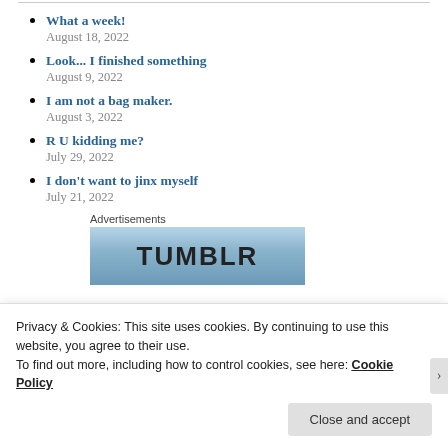What a week!
August 18, 2022
Look... I finished something
August 9, 2022
I am not a bag maker.
August 3, 2022
R U kidding me?
July 29, 2022
I don't want to jinx myself
July 21, 2022
Advertisements
[Figure (screenshot): Tumblr advertisement banner with blue gradient background and TUMBLR text in bold dark letters]
Privacy & Cookies: This site uses cookies. By continuing to use this website, you agree to their use.
To find out more, including how to control cookies, see here: Cookie Policy
Close and accept